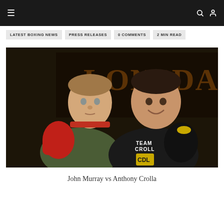≡   🔍 👤
LATEST BOXING NEWS
PRESS RELEASES
0 COMMENTS
2 MIN READ
[Figure (photo): Two male boxers posing in a gym with Lonsdale branding on the wall. The left fighter wears a green shirt and holds red boxing gloves. The right fighter wears a black hoodie labeled 'TEAM CROLL' and holds black boxing gloves.]
John Murray vs Anthony Crolla